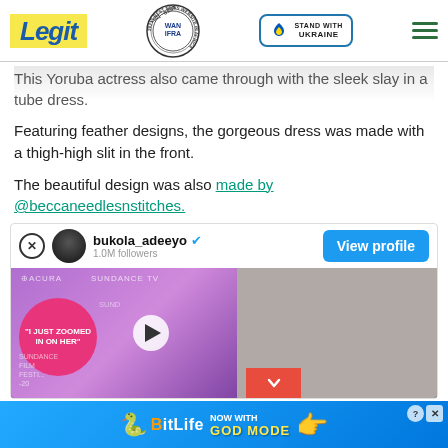Legit — Best News Website in Africa 2021 (WAN IFRA) — Stand with Ukraine
This Yoruba actress also came through with the sleek slay in a tube dress.
Featuring feather designs, the gorgeous dress was made with a thigh-high slit in the front.
The beautiful design was also made by @beccaneedlesnstitches.
[Figure (screenshot): Instagram embed showing bukola_adeeyo profile with a video thumbnail of a Sundance TV interview, with View profile button and BitLife ad banner below.]